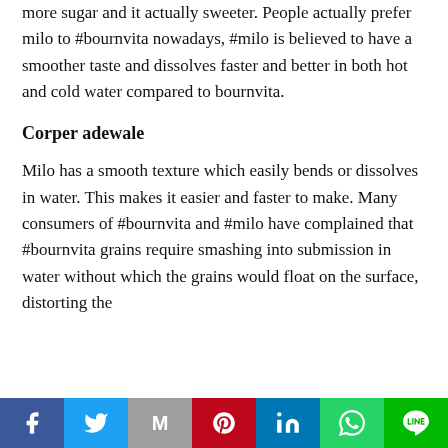more sugar and it actually sweeter. People actually prefer milo to #bournvita nowadays, #milo is believed to have a smoother taste and dissolves faster and better in both hot and cold water compared to bournvita.
Corper adewale
Milo has a smooth texture which easily bends or dissolves in water. This makes it easier and faster to make. Many consumers of #bournvita and #milo have complained that #bournvita grains require smashing into submission in water without which the grains would float on the surface, distorting the